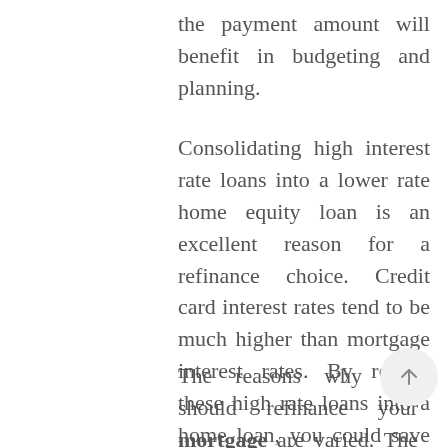the payment amount will benefit in budgeting and planning.
Consolidating high interest rate loans into a lower rate home equity loan is an excellent reason for a refinance choice. Credit card interest rates tend to be much higher than mortgage interest rates. By rolling these high rate loans into a home loan, you could save thousands in interest payments over the loan period.
The reasons why you should refinance your mortgage are varied. The main feature may be that you have access to lump sum amounts or to more working capital each month. When you are